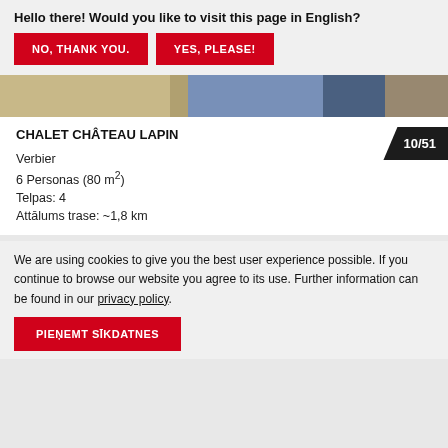Hello there! Would you like to visit this page in English?
NO, THANK YOU.
YES, PLEASE!
[Figure (photo): Partial photo strip showing bunk beds and blue curtains/fabric]
CHALET CHÂTEAU LAPIN
10/51
Verbier
6 Personas (80 m²)
Telpas: 4
Attālums trase: ~1,8 km
We are using cookies to give you the best user experience possible. If you continue to browse our website you agree to its use. Further information can be found in our privacy policy.
PIEŅEMT SĪKDATNES